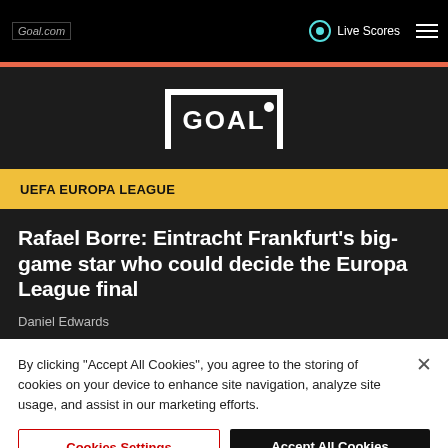Goal.com | Live Scores
[Figure (logo): Goal.com football goal logo in white on dark background]
UEFA EUROPA LEAGUE
Rafael Borre: Eintracht Frankfurt's big-game star who could decide the Europa League final
Daniel Edwards
By clicking "Accept All Cookies", you agree to the storing of cookies on your device to enhance site navigation, analyze site usage, and assist in our marketing efforts.
Cookies Settings | Accept All Cookies